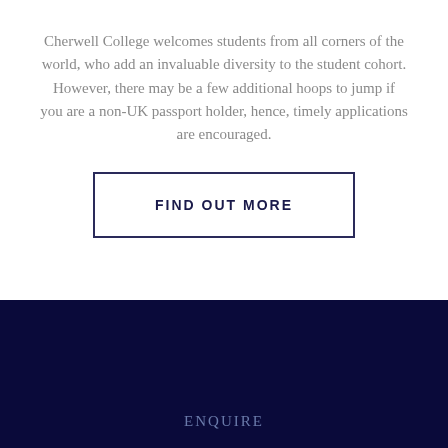Cherwell College welcomes students from all corners of the world, who add an invaluable diversity to the student cohort. However, there may be a few additional hoops to jump if you are a non-UK passport holder, hence, timely applications are encouraged.
FIND OUT MORE
ENQUIRE